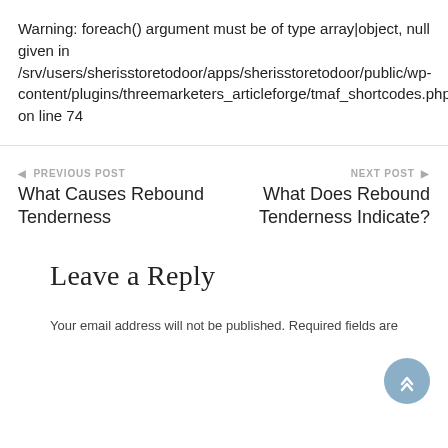Warning: foreach() argument must be of type array|object, null given in /srv/users/sherisstoretodoor/apps/sherisstoretodoor/public/wp-content/plugins/threemarketers_articleforge/tmaf_shortcodes.php on line 74
◄ PREVIOUS POST
What Causes Rebound Tenderness
NEXT POST ►
What Does Rebound Tenderness Indicate?
Leave a Reply
Your email address will not be published. Required fields are